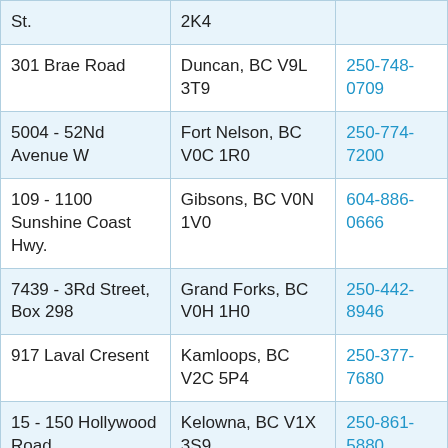| Address | City/Province/Postal | Phone |
| --- | --- | --- |
| St. | 2K4 |  |
| 301 Brae Road | Duncan, BC V9L 3T9 | 250-748-0709 |
| 5004 - 52Nd Avenue W | Fort Nelson, BC V0C 1R0 | 250-774-7200 |
| 109 - 1100 Sunshine Coast Hwy. | Gibsons, BC V0N 1V0 | 604-886-0666 |
| 7439 - 3Rd Street, Box 298 | Grand Forks, BC V0H 1H0 | 250-442-8946 |
| 917 Laval Cresent | Kamloops, BC V2C 5P4 | 250-377-7680 |
| 15 - 150 Hollywood Road | Kelowna, BC V1X 3S9 | 250-861-5880 |
| 2009 Enterprise Way, Suite H | Kelowna, BC V1Y 8G6 | 250-861-2901 |
| 105 Howard St. | Kimberley, BC | 250-427-1300 |